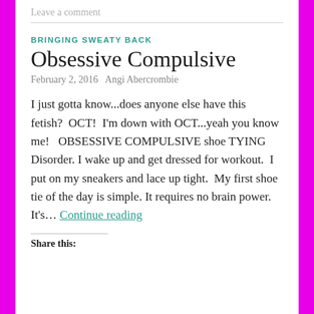Leave a comment
BRINGING SWEATY BACK
Obsessive Compulsive
February 2, 2016   Angi Abercrombie
I just gotta know...does anyone else have this fetish?  OCT!  I'm down with OCT...yeah you know me!   OBSESSIVE COMPULSIVE shoe TYING Disorder. I wake up and get dressed for workout.  I put on my sneakers and lace up tight.  My first shoe tie of the day is simple. It requires no brain power.  It's... Continue reading
Share this: